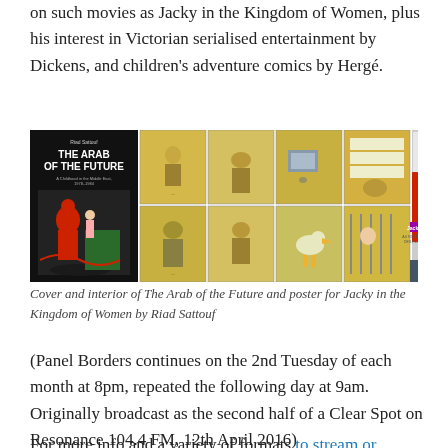on such movies as Jacky in the Kingdom of Women, plus his interest in Victorian serialised entertainment by Dickens, and children's adventure comics by Hergé.
[Figure (illustration): Cover and interior panels of 'The Arab of the Future' graphic novel alongside movie poster for 'Jacky au Royaume des Filles' (Jacky in the Kingdom of Women) by Riad Sattouf.]
Cover and interior of The Arab of the Future and poster for Jacky in the Kingdom of Women by Riad Sattouf
(Panel Borders continues on the 2nd Tuesday of each month at 8pm, repeated the following day at 9am. Originally broadcast as the second half of a Clear Spot on Resonance 104.4 FM, 12th April 2016)
For more info and a variety of formats to stream or